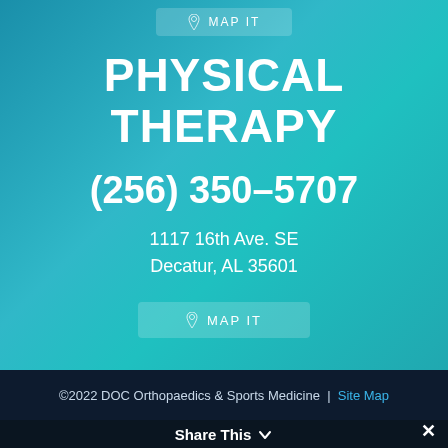[Figure (other): MAP IT button at the top of the page with map pin icon]
PHYSICAL THERAPY
(256) 350-5707
1117 16th Ave. SE
Decatur, AL 35601
[Figure (other): MAP IT button at the bottom of the content area with map pin icon]
©2022 DOC Orthopaedics & Sports Medicine | Site Map
Website Development by Red Sage Communications, Inc.
Share This